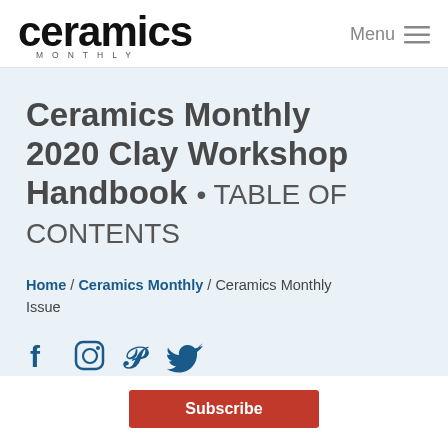ceramics MONTHLY | Menu
Ceramics Monthly 2020 Clay Workshop Handbook • TABLE OF CONTENTS
Home / Ceramics Monthly / Ceramics Monthly Issue
[Figure (other): Social media icons: Facebook, Instagram, Pinterest, Twitter]
Subscribe